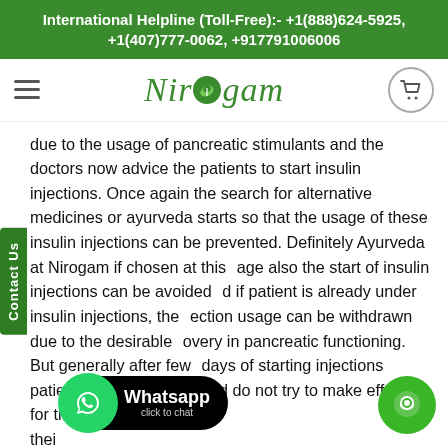International Helpline (Toll-Free):- +1(888)624-5925, +1(407)777-0062, +917791006006
[Figure (logo): Nirogam website logo with hamburger menu on left and cart icon on right]
due to the usage of pancreatic stimulants and the doctors now advice the patients to start insulin injections. Once again the search for alternative medicines or ayurveda starts so that the usage of these insulin injections can be prevented. Definitely Ayurveda at Nirogam if chosen at this age also the start of insulin injections can be avoided and if patient is already under insulin injections, the injection usage can be withdrawn due to the desirable recovery in pancreatic functioning. But generally after few days of starting injections patients make it a habit and do not try to make efforts for the withdrawal of these thei
[Figure (infographic): WhatsApp click to chat button with green phone icon on black rounded rectangle]